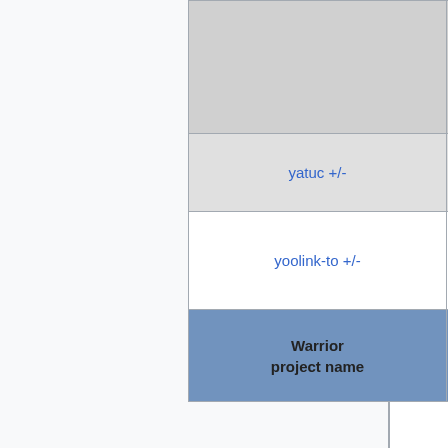| Warrior project name | Est. # shorturls | Last scraped date |
| --- | --- | --- |
|  |  |  |
| yatuc +/- | ? | 2014-1... 13 |
| yoolink-to +/- | ? | 2015-1... 08 |
| Warrior project name | Est. # shorturls | Last scraped date |
Alive
(please keep list alphabetized, and list verification dates inline)
Sources include:
http://blog.go2.me/2009/01/exhausting-review-of-link-